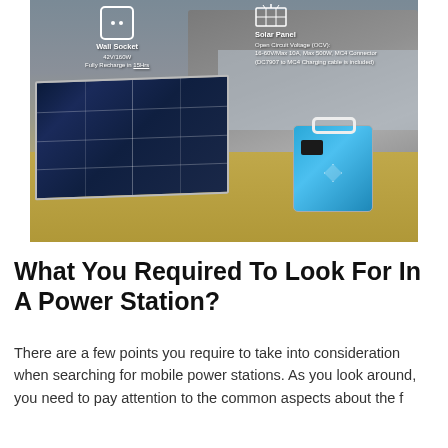[Figure (photo): Outdoor photo showing a solar panel array and a portable blue power station on dry ground, with a truck/vehicle in the background. Overlaid text shows two input options: Wall Socket (42V/160W, Fully Recharge in 15Hrs) and Solar Panel (Open Circuit Voltage (OCV): 16-60V/Max 10A, Max 500W, MC4 Connector, DC7907 to MC4 Charging cable is included).]
What You Required To Look For In A Power Station?
There are a few points you require to take into consideration when searching for mobile power stations. As you look around, you need to pay attention to the common aspects about the f...